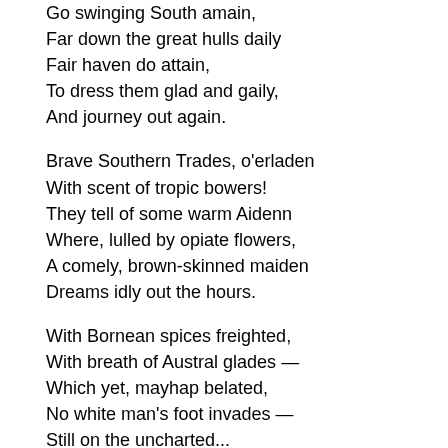Go swinging South amain,
Far down the great hulls daily
Fair haven do attain,
To dress them glad and gaily,
And journey out again.

Brave Southern Trades, o'erladen
With scent of tropic bowers!
They tell of some warm Aidenn
Where, lulled by opiate flowers,
A comely, brown-skinned maiden
Dreams idly out the hours.

With Bornean spices freighted,
With breath of Austral glades —
Which yet, mayhap belated,
No white man's foot invades —
Still on the uncharted...